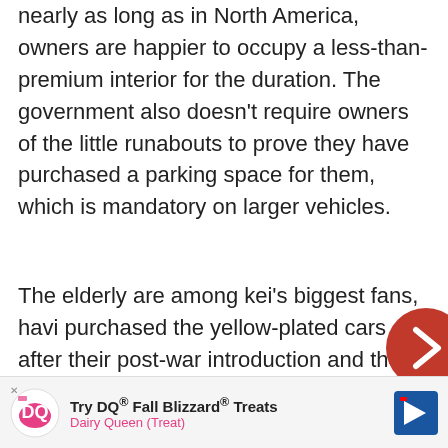nearly as long as in North America, owners are happier to occupy a less-than-premium interior for the duration. The government also doesn't require owners of the little runabouts to prove they have purchased a parking space for them, which is mandatory on larger vehicles.
The elderly are among kei's biggest fans, havi purchased the yellow-plated cars after their post-war introduction and then stuck with them. “You can manoeuvre the car even if the streets are really narrow,” 75-year-old Yoko Kojima, whose Daihatsu Tanto doubles as a van for he told
[Figure (other): Red circular navigation button with a right-pointing chevron arrow, positioned at mid-right of the page]
[Figure (other): Dairy Queen advertisement banner at the bottom: Try DQ Fall Blizzard Treats, Dairy Queen (Treat), with DQ logo and blue directional sign icon]